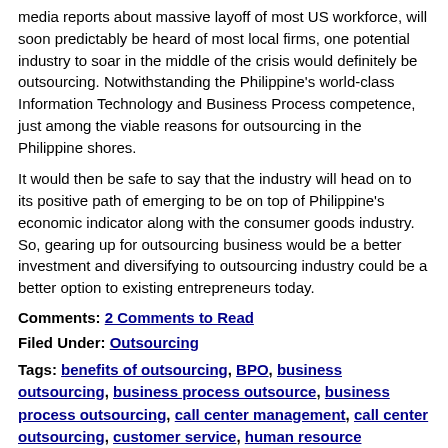media reports about massive layoff of most US workforce, will soon predictably be heard of most local firms, one potential industry to soar in the middle of the crisis would definitely be outsourcing. Notwithstanding the Philippine's world-class Information Technology and Business Process competence, just among the viable reasons for outsourcing in the Philippine shores.
It would then be safe to say that the industry will head on to its positive path of emerging to be on top of Philippine's economic indicator along with the consumer goods industry.  So, gearing up for outsourcing business would be a better investment and diversifying to outsourcing industry could be a better option to existing entrepreneurs today.
Comments: 2 Comments to Read
Filed Under: Outsourcing
Tags: benefits of outsourcing, BPO, business outsourcing, business process outsource, business process outsourcing, call center management, call center outsourcing, customer service, human resource outsourcing, strategic outsourcing, technology consulting, telemarketing outsourcing